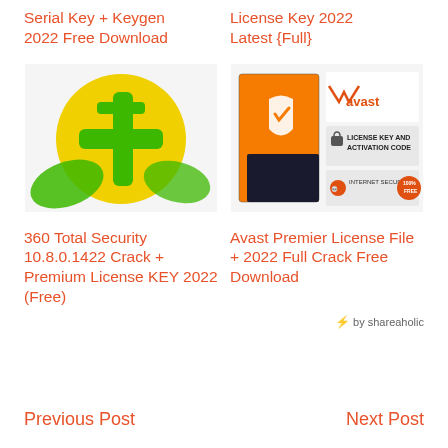Serial Key + Keygen 2022 Free Download
License Key 2022 Latest {Full}
[Figure (illustration): 360 Total Security logo: yellow circle with green plus sign]
[Figure (illustration): Avast Premier product box with avast logo, LICENSE KEY AND ACTIVATION CODE badge, INTERNET SECURITY 100% FREE badge]
360 Total Security 10.8.0.1422 Crack + Premium License KEY 2022 (Free)
Avast Premier License File + 2022 Full Crack Free Download
⚡ by shareaholic
Previous Post    Next Post